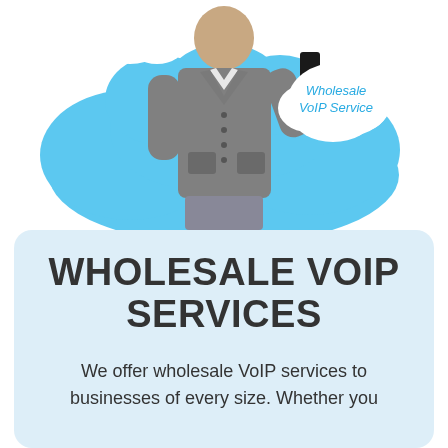[Figure (illustration): A woman in a grey cardigan holding a smartphone, standing in front of a large light blue cloud shape. A smaller white cloud-shaped speech bubble to the upper right reads 'Wholesale VoIP Service' in teal italic text.]
WHOLESALE VOIP SERVICES
We offer wholesale VoIP services to businesses of every size. Whether you